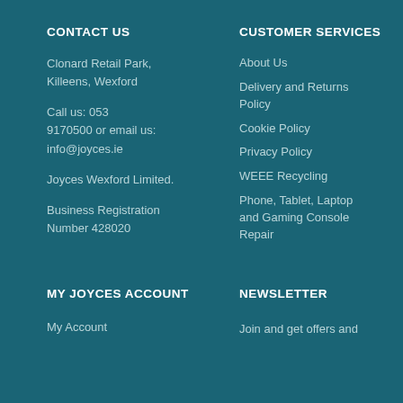CONTACT US
Clonard Retail Park, Killeens, Wexford
Call us: 053 9170500 or email us: info@joyces.ie
Joyces Wexford Limited.
Business Registration Number 428020
CUSTOMER SERVICES
About Us
Delivery and Returns Policy
Cookie Policy
Privacy Policy
WEEE Recycling
Phone, Tablet, Laptop and Gaming Console Repair
MY JOYCES ACCOUNT
My Account
NEWSLETTER
Join and get offers and